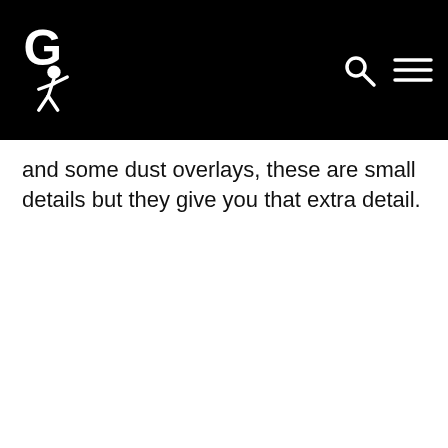Navigation bar with logo, search icon, and menu icon
and some dust overlays, these are small details but they give you that extra detail.